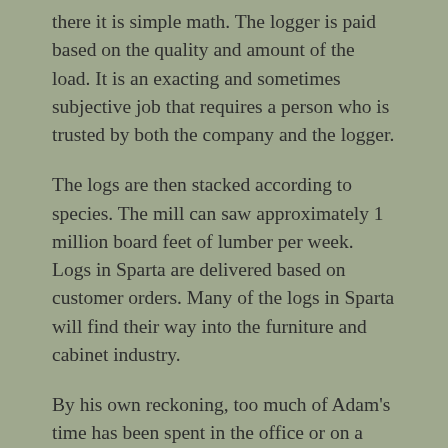there it is simple math.  The logger is paid based on the quality and amount of the load.  It is an exacting and sometimes subjective job that requires a person who is trusted by both the company and the logger.
The logs are then stacked according to species.  The mill can saw approximately 1 million board feet of lumber per week.   Logs in Sparta are delivered based on customer orders.  Many of the logs in Sparta will find their way into the furniture and cabinet industry.
By his own reckoning, too much of Adam's time has been spent in the office or on a loader.  He is leaving Parton's to become a timber cruiser.  His days will now be spent walking the hills measuring trees, making those same calculations he made on the log yard, while the tress are